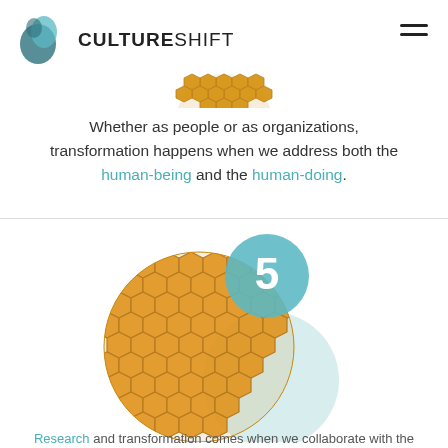[Figure (logo): CultureShift logo with teal teardrop/leaf shape and text CULTURESHIFT]
[Figure (illustration): Partial honeycomb circle visible at top center of page]
Whether as people or as organizations, transformation happens when we address both the human-being and the human-doing.
[Figure (illustration): Honeycomb circular photo with a teal circle numbered 5 overlapping upper right, and a light teal/mint larger circle overlapping lower right]
Partial bottom text beginning with teal-colored words (cut off)